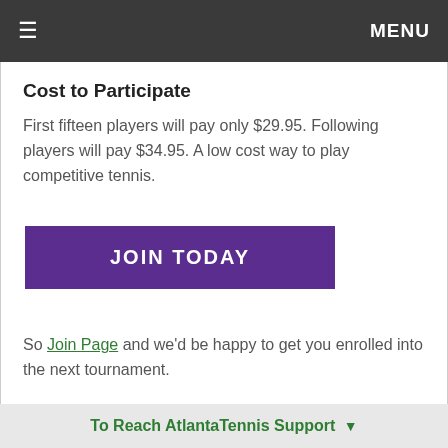≡  MENU
Cost to Participate
First fifteen players will pay only $29.95. Following players will pay $34.95. A low cost way to play competitive tennis.
[Figure (other): Purple button reading JOIN TODAY]
So Join Page and we'd be happy to get you enrolled into the next tournament.
Finer Details
To Reach AtlantaTennis Support ▼